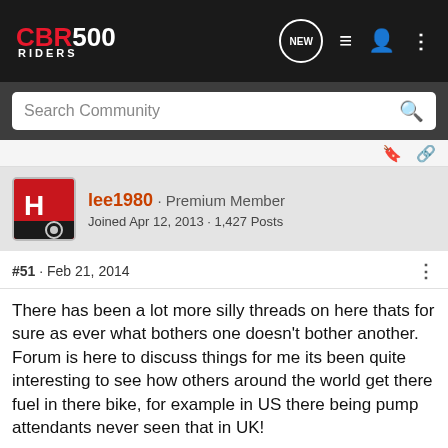CBR 500 RIDERS - Navigation bar with Search Community
lee1980 · Premium Member
Joined Apr 12, 2013 · 1,427 Posts
#51 · Feb 21, 2014
There has been a lot more silly threads on here thats for sure as ever what bothers one doesn't bother another.
Forum is here to discuss things for me its been quite interesting to see how others around the world get there fuel in there bike, for example in US there being pump attendants never seen that in UK!
If you ha... at all!
[Figure (advertisement): Suzuki GSX-S1000GT advertisement banner showing motorcycle and 'SEE IT NOW' button]